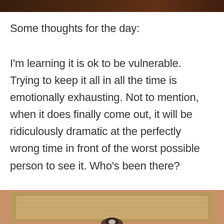[Figure (photo): Top portion of a photo, dark background with warm tones, partially cropped at top of page.]
Some thoughts for the day:
I'm learning it is ok to be vulnerable. Trying to keep it all in all the time is emotionally exhausting. Not to mention, when it does finally come out, it will be ridiculously dramatic at the perfectly wrong time in front of the worst possible person to see it. Who's been there?
[Figure (photo): Photo of a wooden panel/door with a cat or small animal visible at the bottom, orange/tan wall background.]